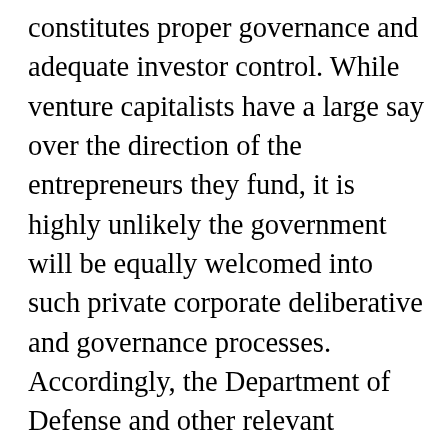constitutes proper governance and adequate investor control. While venture capitalists have a large say over the direction of the entrepreneurs they fund, it is highly unlikely the government will be equally welcomed into such private corporate deliberative and governance processes. Accordingly, the Department of Defense and other relevant national security players, such as the Department of Homeland Security, must move toward a sustainable “networked” relationship to thrive in the 21st-century private technology ecosystem, rather than seeking to restore a 20th-century